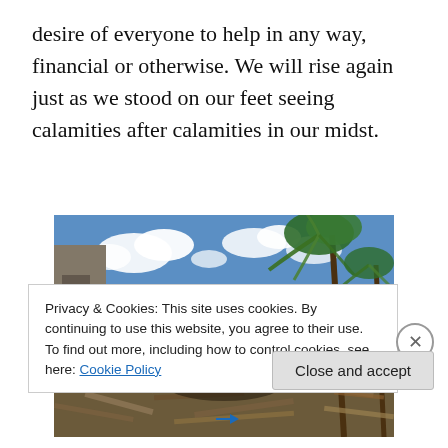desire of everyone to help in any way, financial or otherwise. We will rise again just as we stood on our feet seeing calamities after calamities in our midst.
[Figure (photo): People walking through debris and destruction after a typhoon/calamity, with damaged palm trees and ocean visible in the background under a partly cloudy sky.]
Privacy & Cookies: This site uses cookies. By continuing to use this website, you agree to their use.
To find out more, including how to control cookies, see here: Cookie Policy
Close and accept